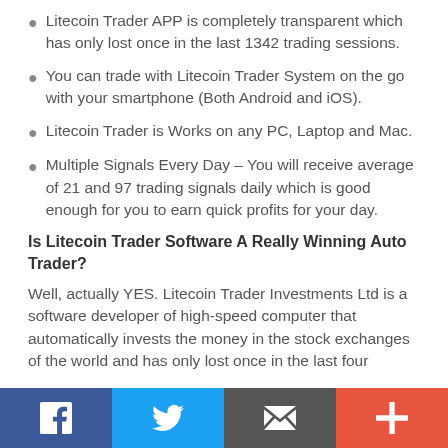Litecoin Trader APP is completely transparent which has only lost once in the last 1342 trading sessions.
You can trade with Litecoin Trader System on the go with your smartphone (Both Android and iOS).
Litecoin Trader is Works on any PC, Laptop and Mac.
Multiple Signals Every Day – You will receive average of 21 and 97 trading signals daily which is good enough for you to earn quick profits for your day.
Is Litecoin Trader Software A Really Winning Auto Trader?
Well, actually YES. Litecoin Trader Investments Ltd is a software developer of high-speed computer that automatically invests the money in the stock exchanges of the world and has only lost once in the last four